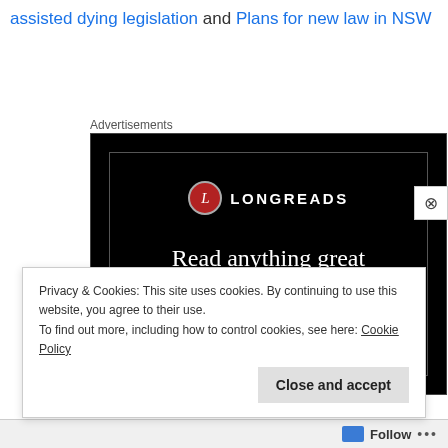assisted dying legislation and Plans for new law in NSW
Advertisements
[Figure (illustration): Longreads advertisement banner on black background. Shows the Longreads logo (red circle with 'L' letter and LONGREADS text), the headline 'Read anything great lately?' in white serif font, and a red 'Start reading' button.]
Privacy & Cookies: This site uses cookies. By continuing to use this website, you agree to their use.
To find out more, including how to control cookies, see here: Cookie Policy
Close and accept
Follow ···